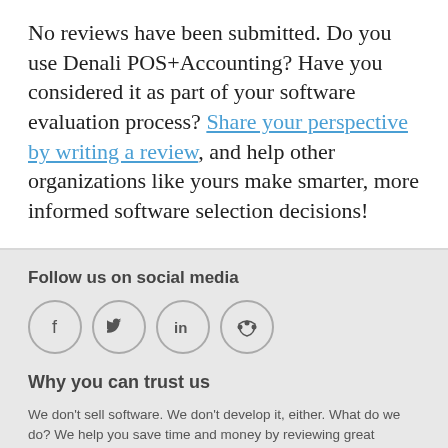No reviews have been submitted. Do you use Denali POS+Accounting? Have you considered it as part of your software evaluation process? Share your perspective by writing a review, and help other organizations like yours make smarter, more informed software selection decisions!
Follow us on social media
[Figure (infographic): Four social media icon circles: Facebook (f), Twitter (bird), LinkedIn (in), RSS feed]
Why you can trust us
We don't sell software. We don't develop it, either. What do we do? We help you save time and money by reviewing great software.
Since 1996, we've focused on one thing: understanding